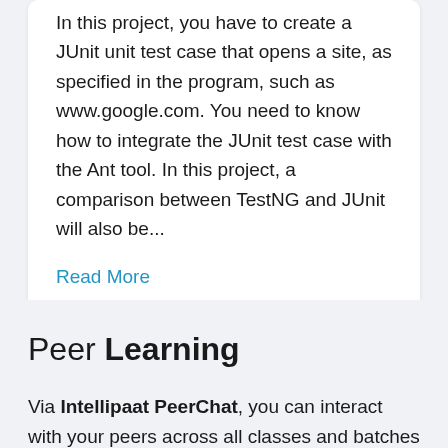In this project, you have to create a JUnit unit test case that opens a site, as specified in the program, such as www.google.com. You need to know how to integrate the JUnit test case with the Ant tool. In this project, a comparison between TestNG and JUnit will also be...
Read More
Peer Learning
Via Intellipaat PeerChat, you can interact with your peers across all classes and batches and even our alumni.